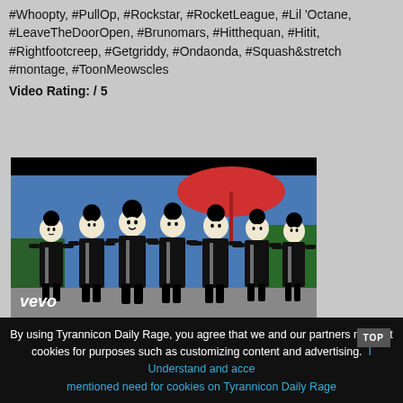#Whoopty, #PullOp, #Rockstar, #RocketLeague, #Lil'Octane, #LeaveTheDoorOpen, #Brunomars, #Hitthequan, #Hitit, #Rightfootcreep, #Getgriddy, #Ondaonda, #Squash&stretch #montage, #ToonMeowscles
Video Rating: / 5
[Figure (screenshot): A Vevo video thumbnail showing animated black-and-white cartoon characters (resembling Meowscles in toon style) standing in a group with a colorful background featuring a red umbrella and outdoor setting. The Vevo logo appears in the bottom-left corner.]
By using Tyrannicon Daily Rage, you agree that we and our partners may set cookies for purposes such as customizing content and advertising.  I Understand and accept mentioned need for cookies on Tyrannicon Daily Rage